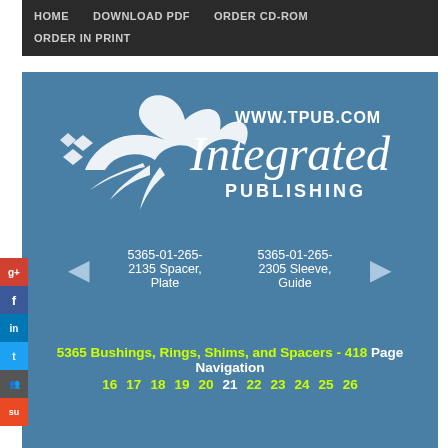HOME   DOWNLOAD PDF   ORDER CD-ROM   ORDER IN PRINT
[Figure (logo): Integrated Publishing logo with stylized bird/wing and text 'WWW.TPUB.COM Integrated PUBLISHING']
5365-01-265-2135 Spacer, Plate
5365-01-265-2305 Sleeve, Guide
5365 Bushings, Rings, Shims, and Spacers - 418 Page Navigation
16 17 18 19 20 21 22 23 24 25 26